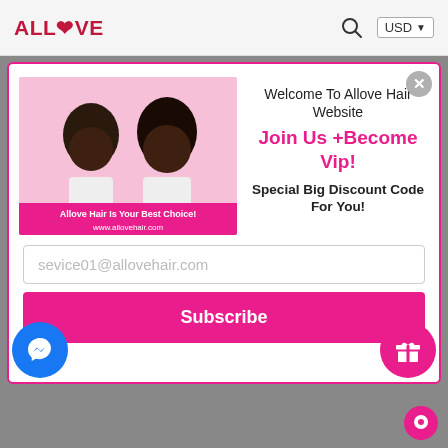ALLLOVE — USD
[Figure (screenshot): Modal popup on Allove Hair website showing two women with styled hair on a pink background, with text 'Allove Hair Is Your Best Choice! www.allovehair.com']
Welcome To Allove Hair Website
Join Us +Become Vip!
Special Big Discount Code For You!
sevice01@allovehair.com
Subscribe